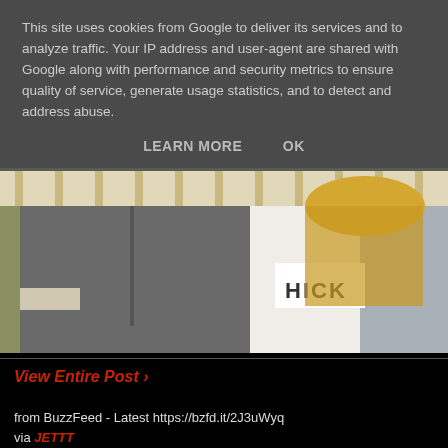This site uses cookies from Google to deliver its services and to analyze traffic. Your IP address and user-agent are shared with Google along with performance and security metrics to ensure quality of service, generate usage statistics, and to detect and address abuse.
LEARN MORE    OK
[Figure (photo): Two people standing together outdoors near a white fence. A man in a grey short-sleeve button-up shirt on the left, and a blonde woman wearing a white v-neck t-shirt with 'HICK' text and a grey jacket on the right.]
View Entire Post ›
from BuzzFeed - Latest https://bzfd.it/2J3uWyq via JETTT